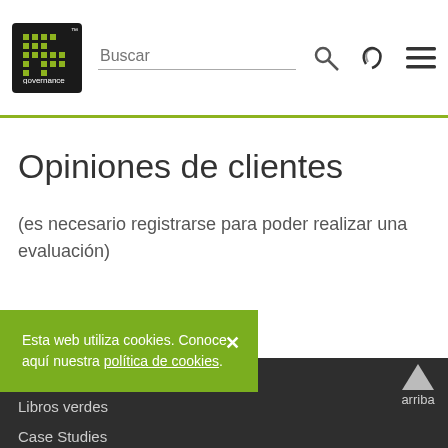IT Governance | Buscar (search bar) | phone icon | menu icon
Opiniones de clientes
(es necesario registrarse para poder realizar una evaluación)
Esta web utiliza cookies. Conoce aquí nuestra política de cookies.
arriba
Libros verdes
Case Studies